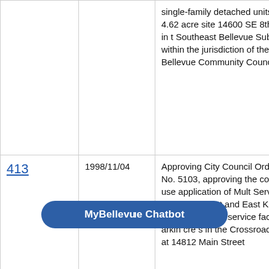|  | Date | Description |
| --- | --- | --- |
|  |  | single-family detached units on a 4.62 acre site 14600 SE 8th Street in the Southeast Bellevue Subarea within the jurisdiction of the East Bellevue Community Council |
| 413 | 1998/11/04 | Approving City Council Ordinance No. 5103, approving the conditional use application of Multi-Service Centers of North and East King County for a social service facility with parking on a 1.acre site in the Crossroads Subarea at 14812 Main Street |